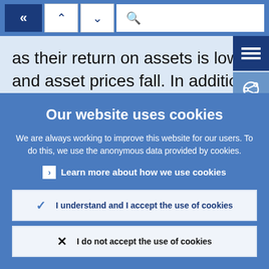[Figure (screenshot): Website navigation bar with back button, up/down arrows, and search bar on blue background]
as their return on assets is lower and asset prices fall. In addition, the f...
Our website uses cookies
We are always working to improve this website for our users. To do this, we use the anonymous data provided by cookies.
› Learn more about how we use cookies
✓ I understand and I accept the use of cookies
✗ I do not accept the use of cookies